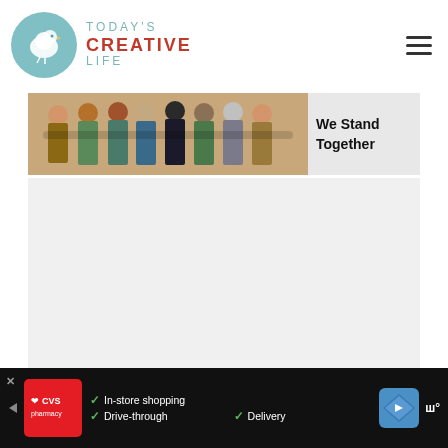[Figure (logo): Today's Creative Life logo — teal circle with bird silhouette, text 'TODAY'S CREATIVE LIFE' beside it in teal and red]
[Figure (photo): Group of people from behind with arms around each other with text 'We Stand Together' on right side]
[Figure (infographic): Advertisement bar: CVS Pharmacy ad with features: In-store shopping, Drive-through, Delivery; navigation icon and W icon on right]